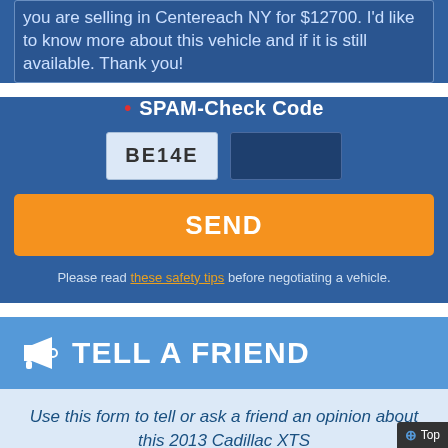you are selling in Centereach NY for $12700. I'd like to know more about this vehicle and if it is still available. Thank you!
* SPAM-Check Code
BE14E [code display] [input field]
SEND
Please read these safety tips before negotiating a vehicle.
TELL A FRIEND
Use this form to tell or ask a friend an opinion about this 2013 Cadillac XTS